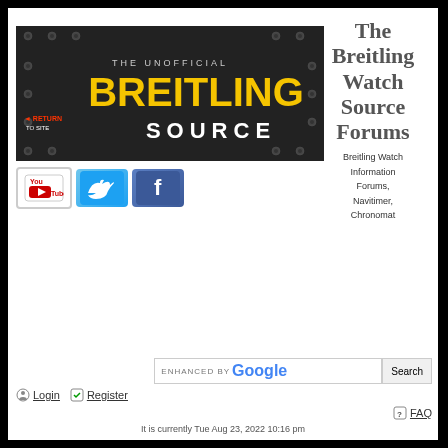[Figure (screenshot): The Unofficial Breitling Source banner with yellow Breitling text and white SOURCE text on dark metallic riveted background, with Return to Site link]
[Figure (logo): YouTube logo icon]
[Figure (logo): Twitter bird logo icon]
[Figure (logo): Facebook F logo icon]
The Breitling Watch Source Forums
Breitling Watch Information Forums, Navitimer, Chronomat
ENHANCED BY Google
Login
Register
FAQ
It is currently Tue Aug 23, 2022 10:16 pm